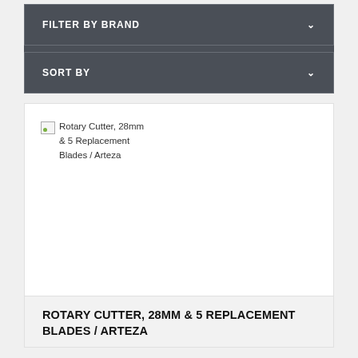FILTER BY BRAND
SORT BY
[Figure (screenshot): Broken image placeholder for Rotary Cutter, 28mm & 5 Replacement Blades / Arteza product image]
ROTARY CUTTER, 28MM & 5 REPLACEMENT BLADES / ARTEZA